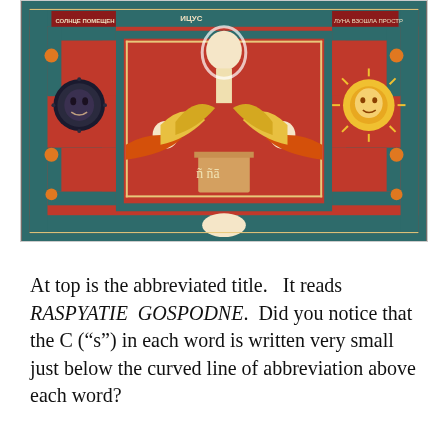[Figure (illustration): A Russian Orthodox icon depicting the Crucifixion (Raspyatie Gospodne). The icon features a complex multi-panel composition with red and teal borders arranged in a maze-like pattern. At the top are abbreviated Cyrillic inscriptions. Two prostrate angels with golden wings flank a central scene. On the left side is a dark circular sun symbol, on the right a radiant golden sun-face. Decorative orbs and fruits surround the border.]
At top is the abbreviated title.   It reads RASPYATIE GOSPODNE.  Did you notice that the C (“s”) in each word is written very small just below the curved line of abbreviation above each word?